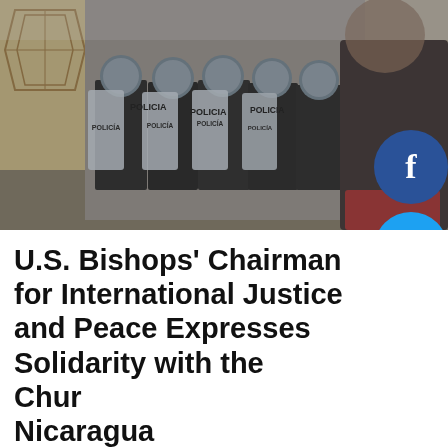[Figure (photo): Bishop José Álvarez Lagos surrounded by police officers in riot gear with shields marked POLICIA, inside a building entrance. A person in dark clothing is visible on the right side facing the officers.]
U.S. Bishops' Chairman for International Justice and Peace Expresses Solidarity with the Church in Nicaragua
Ramón Jiménez   1 day ago
Bishop José Álvarez Lagos surrounded by police officers. Photo: Diocese of Matagalpa. WASHINGTON - As the ... the Catholic Church in Nicaragua grow amidst the local social and ...